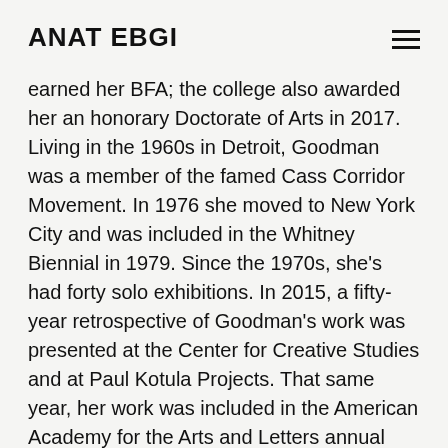ANAT EBGI
earned her BFA; the college also awarded her an honorary Doctorate of Arts in 2017. Living in the 1960s in Detroit, Goodman was a member of the famed Cass Corridor Movement. In 1976 she moved to New York City and was included in the Whitney Biennial in 1979. Since the 1970s, she’s had forty solo exhibitions. In 2015, a fifty-year retrospective of Goodman’s work was presented at the Center for Creative Studies and at Paul Kotula Projects. That same year, her work was included in the American Academy for the Arts and Letters annual invitational, where she received the Award in Art. In 2019 she was inducted into the National Academy of Design. Goodman’s work is included in the public collections of the Museum of Modern art, Ne...